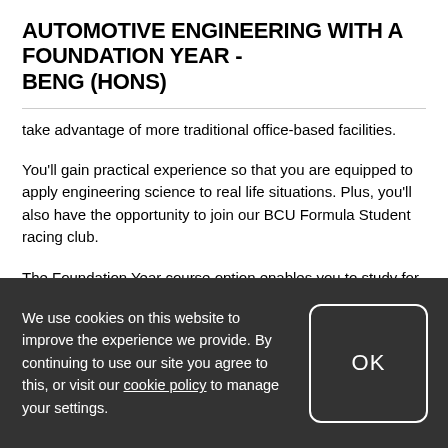AUTOMOTIVE ENGINEERING WITH A FOUNDATION YEAR - BENG (HONS)
take advantage of more traditional office-based facilities.
You'll gain practical experience so that you are equipped to apply engineering science to real life situations. Plus, you'll also have the opportunity to join our BCU Formula Student racing club.
The Foundation Year course option enables you to study for our BEng (Hons) degree over an extended full-time duration of four years by including a Foundation Certificate
We use cookies on this website to improve the experience we provide. By continuing to use our site you agree to this, or visit our cookie policy to manage your settings.